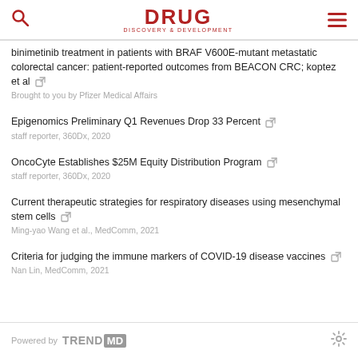DRUG DISCOVERY & DEVELOPMENT
binimetinib treatment in patients with BRAF V600E-mutant metastatic colorectal cancer: patient-reported outcomes from BEACON CRC; koptez et al
Epigenomics Preliminary Q1 Revenues Drop 33 Percent
OncoCyte Establishes $25M Equity Distribution Program
Current therapeutic strategies for respiratory diseases using mesenchymal stem cells
Criteria for judging the immune markers of COVID-19 disease vaccines
Powered by TRENDMD